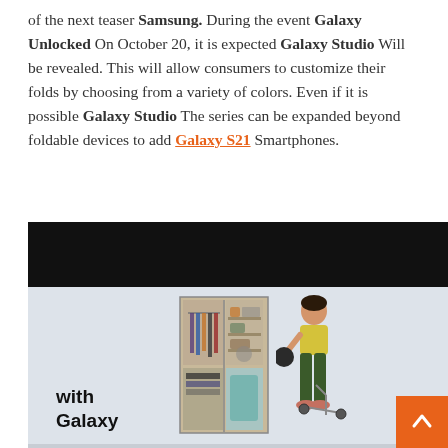of the next teaser Samsung. During the event Galaxy Unlocked On October 20, it is expected Galaxy Studio Will be revealed. This will allow consumers to customize their folds by choosing from a variety of colors. Even if it is possible Galaxy Studio The series can be expanded beyond foldable devices to add Galaxy S21 Smartphones.
[Figure (photo): Samsung 'with Galaxy' promotional image showing a person near a wardrobe/closet with clothing, alongside a second image partially visible at the bottom showing another person near a closet. A back-to-top orange button is visible in the bottom right corner.]